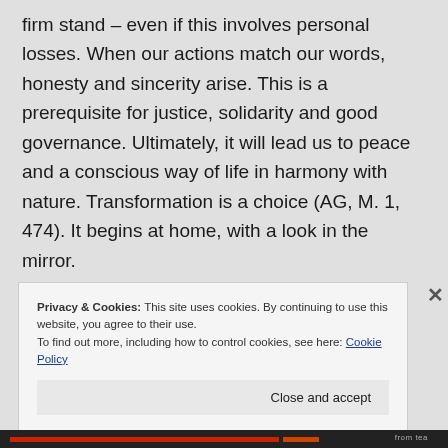firm stand – even if this involves personal losses. When our actions match our words, honesty and sincerity arise. This is a prerequisite for justice, solidarity and good governance. Ultimately, it will lead us to peace and a conscious way of life in harmony with nature. Transformation is a choice (AG, M. 1, 474). It begins at home, with a look in the mirror.
Privacy & Cookies: This site uses cookies. By continuing to use this website, you agree to their use.
To find out more, including how to control cookies, see here: Cookie Policy
Close and accept